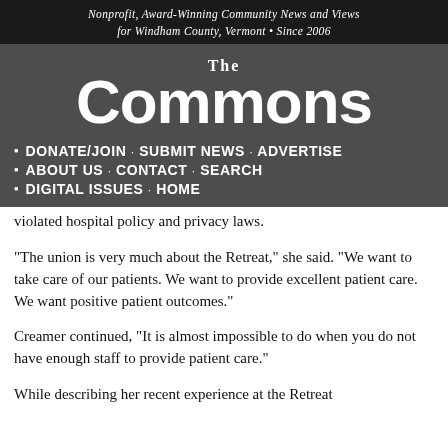Nonprofit, Award-Winning Community News and Views for Windham County, Vermont • Since 2006
[Figure (logo): The Commons newspaper logo — stylized text with 'The' above 'Commons' in large bold type]
DONATE/JOIN · SUBMIT NEWS · ADVERTISE
ABOUT US · CONTACT · SEARCH
DIGITAL ISSUES · HOME
violated hospital policy and privacy laws.
“The union is very much about the Retreat,” she said. “We want to take care of our patients. We want to provide excellent patient care. We want positive patient outcomes.”
Creamer continued, “It is almost impossible to do when you do not have enough staff to provide patient care.”
While describing her recent experience at the Retreat